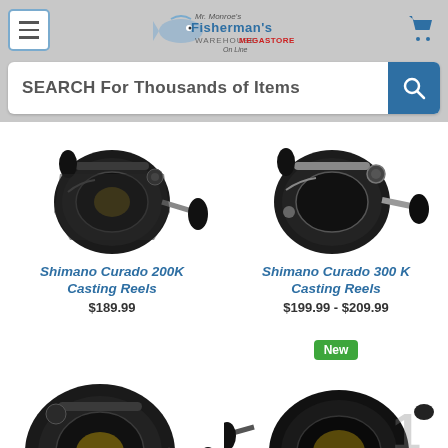Fisherman's Warehouse Megastore Online - navigation header
SEARCH For Thousands of Items
[Figure (photo): Shimano Curado 200K baitcasting reel, black, viewed from the side showing handle and spool]
Shimano Curado 200K Casting Reels
$189.99
[Figure (photo): Shimano Curado 300K baitcasting reel, black with silver accents, viewed from the side]
Shimano Curado 300 K Casting Reels
$199.99 - $209.99
[Figure (photo): Bottom-left baitcasting reel, dark grey/black, partially visible]
[Figure (photo): Bottom-right baitcasting reel, black, partially visible with 'New' badge]